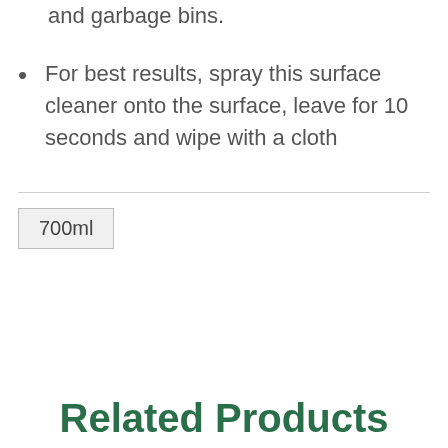and garbage bins.
For best results, spray this surface cleaner onto the surface, leave for 10 seconds and wipe with a cloth
700ml
Related Products